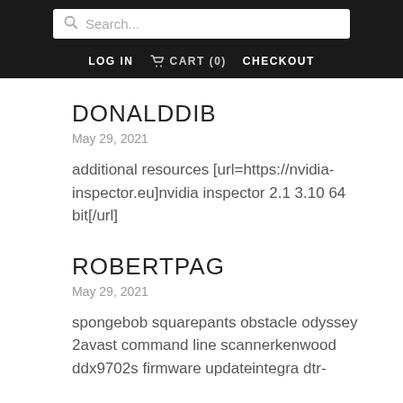Search... LOG IN CART (0) CHECKOUT
DONALDDIB
May 29, 2021
additional resources [url=https://nvidia-inspector.eu]nvidia inspector 2.1 3.10 64 bit[/url]
ROBERTPAG
May 29, 2021
spongebob squarepants obstacle odyssey 2avast command line scannerkenwood ddx9702s firmware updateintegra dtr-